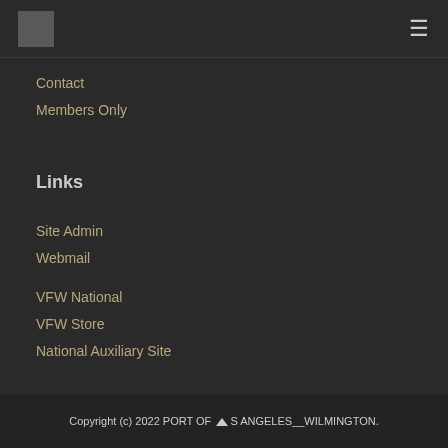[logo] [hamburger menu]
Contact
Members Only
Links
Site Admin
Webmail
VFW National
VFW Store
National Auxiliary Site
Copyright (c) 2022 PORT OF LOS ANGELES__WILMINGTON.